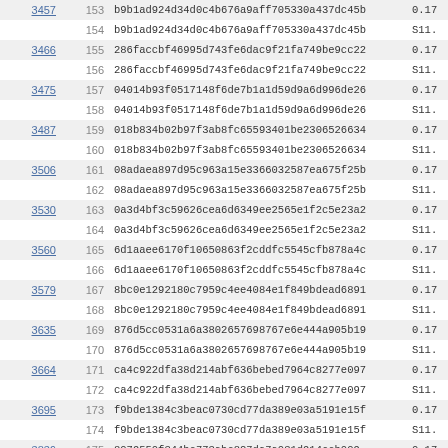| ID | Row | Hash | Value |
| --- | --- | --- | --- |
| 3457 | 153 | b9b1ad924d34d0c4b676a9aff705330a437dc45b | 0.17 |
|  | 154 | b9b1ad924d34d0c4b676a9aff705330a437dc45b | S11. |
| 3466 | 155 | 286faccbf46995d743fe6dac9f21fa749be9cc22 | 0.17 |
|  | 156 | 286faccbf46995d743fe6dac9f21fa749be9cc22 | S11. |
| 3475 | 157 | 04014b93f0517148f6de7b1a1d59d9a6d996de26 | 0.17 |
|  | 158 | 04014b93f0517148f6de7b1a1d59d9a6d996de26 | S11. |
| 3487 | 159 | 018b834b02b97f3ab8fc65593401be2306526634 | 0.17 |
|  | 160 | 018b834b02b97f3ab8fc65593401be2306526634 | S11. |
| 3506 | 161 | 08adaea897d95c963a15e3366032587ea675f25b | 0.17 |
|  | 162 | 08adaea897d95c963a15e3366032587ea675f25b | S11. |
| 3530 | 163 | 0a3d4bf3c59626cea6d6349ee2565e1f2c5e23a2 | 0.17 |
|  | 164 | 0a3d4bf3c59626cea6d6349ee2565e1f2c5e23a2 | S11. |
| 3560 | 165 | 6d1aaee6170f10650863f2cddfc5545cfb878a4c | 0.17 |
|  | 166 | 6d1aaee6170f10650863f2cddfc5545cfb878a4c | S11. |
| 3579 | 167 | 8bc0e1292180c7959c4ee4084e1f849bdead6891 | 0.17 |
|  | 168 | 8bc0e1292180c7959c4ee4084e1f849bdead6891 | S11. |
| 3635 | 169 | 876d5cc0531a6a3802657698767e6e444a905b19 | 0.17 |
|  | 170 | 876d5cc0531a6a3802657698767e6e444a905b19 | S11. |
| 3664 | 171 | ca4c922dfa38d214abf636bebed7964c8277e097 | 0.17 |
|  | 172 | ca4c922dfa38d214abf636bebed7964c8277e097 | S11. |
| 3695 | 173 | f9bde1384c3beac0730cd77da389e03a5191e15f | 0.17 |
|  | 174 | f9bde1384c3beac0730cd77da389e03a5191e15f | S11. |
| 3836 | 175 | 8079550f344bc773abc827da7a031d914ccb009 | 0.17 |